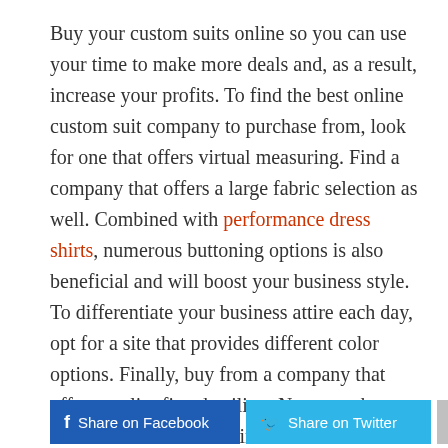Buy your custom suits online so you can use your time to make more deals and, as a result, increase your profits. To find the best online custom suit company to purchase from, look for one that offers virtual measuring. Find a company that offers a large fabric selection as well. Combined with performance dress shirts, numerous buttoning options is also beneficial and will boost your business style. To differentiate your business attire each day, opt for a site that provides different color options. Finally, buy from a company that offers quality fine detailing. Now, you know how to find the best online custom suit that will be worth your money.
[Figure (other): Social sharing buttons: Share on Facebook (blue), Share on Twitter (light blue), and a gray plus/add button]